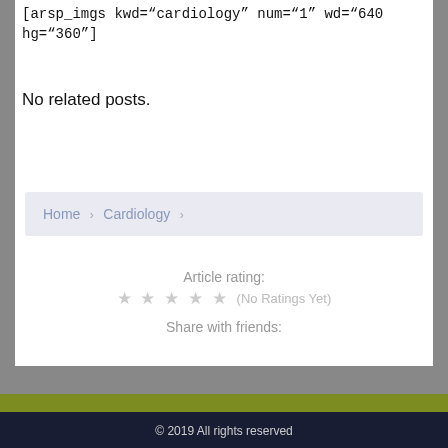[arsp_imgs kwd="cardiology" num="1" wd="640" hg="360"]
No related posts.
Home › Cardiology ›
Article rating:
★ ★ ★ ★ ★ (No Ratings Yet)
Share with friends:
© 2019 All rights reserved